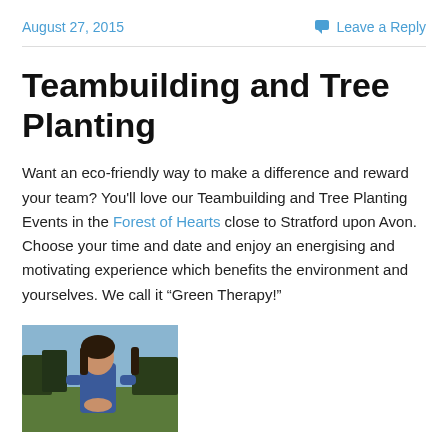August 27, 2015
Leave a Reply
Teambuilding and Tree Planting
Want an eco-friendly way to make a difference and reward your team? You'll love our Teambuilding and Tree Planting Events in the Forest of Hearts close to Stratford upon Avon. Choose your time and date and enjoy an energising and motivating experience which benefits the environment and yourselves. We call it “Green Therapy!”
[Figure (photo): A young woman with dark hair standing outdoors in a field, wearing a blue jacket, with trees in the background]